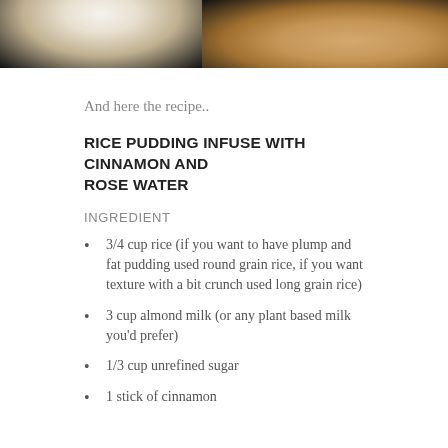[Figure (photo): Partial photo showing a dark background with what appears to be a light-colored food item or bowl on the left and skin/hand on the right]
And here the recipe..
RICE PUDDING INFUSE WITH CINNAMON AND ROSE WATER
INGREDIENT
3/4 cup rice (if you want to have plump and fat pudding used round grain rice, if you want texture with a bit crunch used long grain rice)
3 cup almond milk (or any plant based milk you'd prefer)
1/3 cup unrefined sugar
1 stick of cinnamon